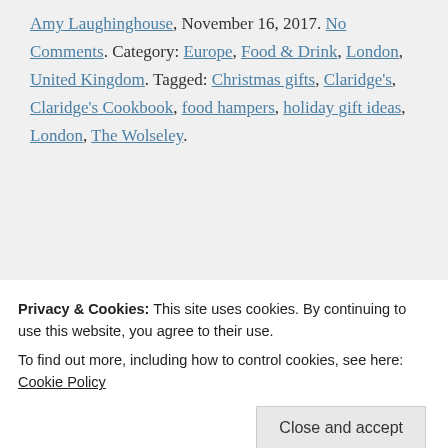Amy Laughinghouse, November 16, 2017. No Comments. Category: Europe, Food & Drink, London, United Kingdom. Tagged: Christmas gifts, Claridge's, Claridge's Cookbook, food hampers, holiday gift ideas, London, The Wolseley.
Search [search box]
Privacy & Cookies: This site uses cookies. By continuing to use this website, you agree to their use.
To find out more, including how to control cookies, see here: Cookie Policy
Close and accept